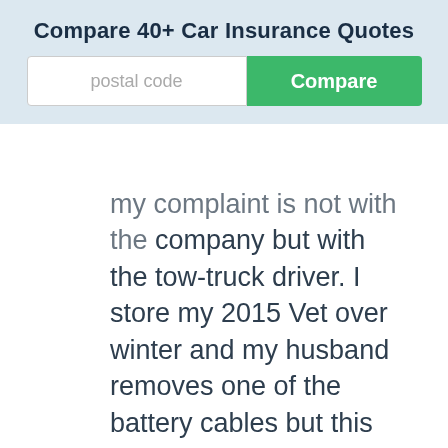[Figure (screenshot): Compare 40+ Car Insurance Quotes banner with postal code input field and green Compare button]
My complaint is not with the company but with the tow-truck driver. I store my 2015 Vet over winter and my husband removes one of the battery cables but this year he removed both from their terminals. When we tried to start the car this week it wouldn't so we called CAA and a driver arrived promptly. After checking the battery and the charge he said he